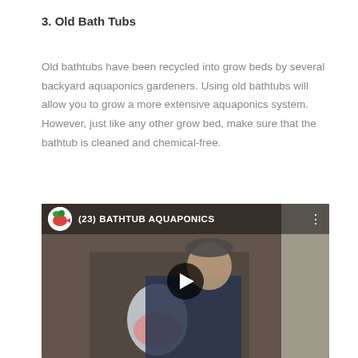3. Old Bath Tubs
Old bathtubs have been recycled into grow beds by several backyard aquaponics gardeners. Using old bathtubs will allow you to grow a more extensive aquaponics system. However, just like any other grow bed, make sure that the bathtub is cleaned and chemical-free.
[Figure (screenshot): YouTube video thumbnail showing a person holding a plastic bag with fish, with the title '(23) BATHTUB AQUAPONICS' and a play button overlay.]